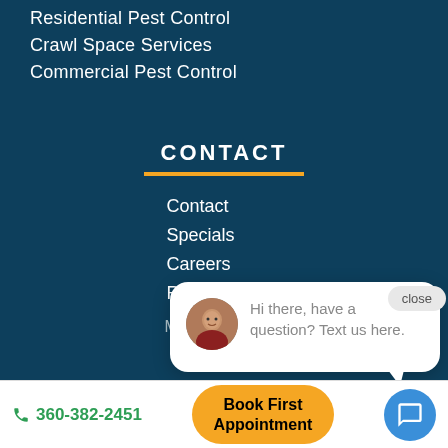Residential Pest Control
Crawl Space Services
Commercial Pest Control
CONTACT
Contact
Specials
Careers
Refer a Friend
Monday – Friday 7 AM - 6 PM
[Figure (screenshot): Chat popup with avatar photo of a woman smiling, close button, and message: Hi there, have a question? Text us here.]
close
Hi there, have a question? Text us here.
360-382-2451  Book First Appointment
Book First Appointment
360-382-2451